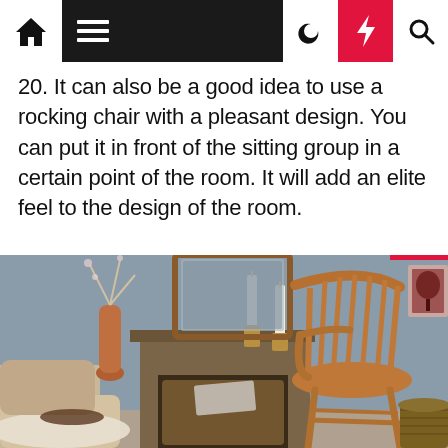Home | Menu | Moon | Lightning | Search
20. It can also be a good idea to use a rocking chair with a pleasant design. You can put it in front of the sitting group in a certain point of the room. It will add an elite feel to the design of the room.
[Figure (photo): Interior room scene featuring a wooden Windsor rocking chair in the foreground, a fireplace mantel with brass candlesticks holding white candles, a framed mirror, a copper vase with branches, a sofa with cushions and a fur throw, a small side table, and wall art. The walls are painted in a muted blue-grey color.]